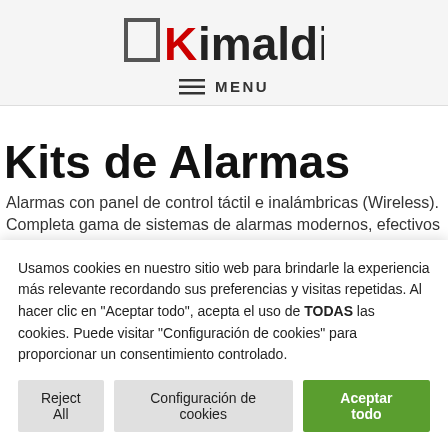[Figure (logo): Kimaldi logo with a square bracket icon and bold text 'Kimaldi' with red K]
≡ MENU
Kits de Alarmas
Alarmas con panel de control táctil e inalámbricas (Wireless).
Completa gama de sistemas de alarmas modernos, efectivos y
Usamos cookies en nuestro sitio web para brindarle la experiencia más relevante recordando sus preferencias y visitas repetidas. Al hacer clic en "Aceptar todo", acepta el uso de TODAS las cookies. Puede visitar "Configuración de cookies" para proporcionar un consentimiento controlado.
Reject All | Configuración de cookies | Aceptar todo